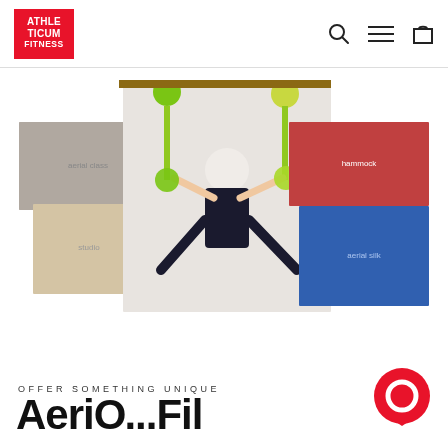ATHLETICUM FITNESS — navigation header with logo, search, menu, and cart icons
[Figure (photo): Collage of aerial yoga / fitness class photos: a person using green aerial straps/rings in a studio, plus smaller side images of group fitness classes with hammocks and silk equipment]
OFFER SOMETHING UNIQUE
Aeri...